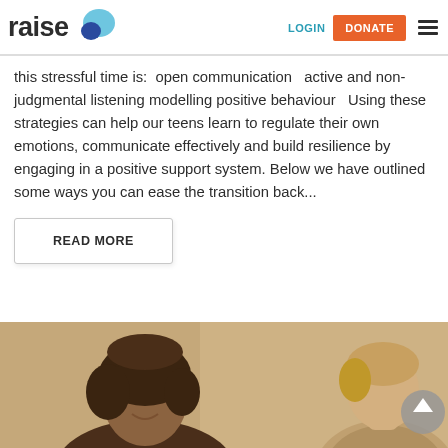raise — LOGIN DONATE ≡
this stressful time is:  open communication   active and non-judgmental listening modelling positive behaviour   Using these strategies can help our teens learn to regulate their own emotions, communicate effectively and build resilience by engaging in a positive support system. Below we have outlined some ways you can ease the transition back...
READ MORE
[Figure (photo): Two teenage girls smiling, one with curly dark hair in the foreground, another with lighter hair partially visible at right edge. Photo partially cropped at bottom of page.]